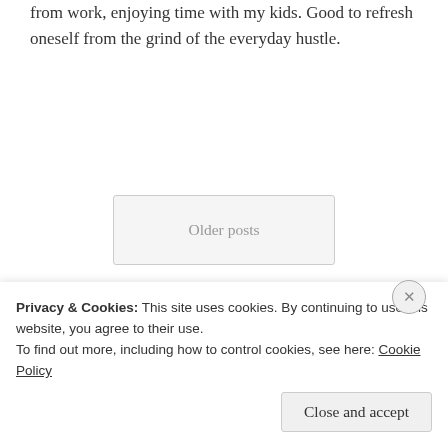from work, enjoying time with my kids. Good to refresh oneself from the grind of the everyday hustle.
Older posts
Search …
Search
Privacy & Cookies: This site uses cookies. By continuing to use this website, you agree to their use.
To find out more, including how to control cookies, see here: Cookie Policy
Close and accept